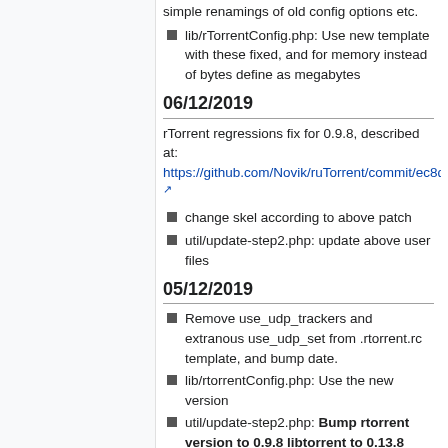lib/rTorrentConfig.php: Use new template with these fixed, and for memory instead of bytes define as megabytes
06/12/2019
rTorrent regressions fix for 0.9.8, described at: https://github.com/Novik/ruTorrent/commit/ec8d8f1887af57793a671258072b59193a5d8d6c
change skel according to above patch
util/update-step2.php: update above user files
05/12/2019
Remove use_udp_trackers and extranous use_udp_set from .rtorrent.rc template, and bump date.
lib/rtorrentConfig.php: Use the new version
util/update-step2.php: Bump rtorrent version to 0.9.8 libtorrent to 0.13.8
util/update-step2.php: Remove use_udp_set = yes from local template AND from users